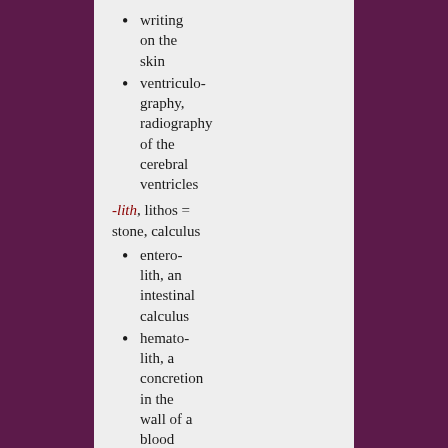writing on the skin
ventriculo-graphy, radiography of the cerebral ventricles
-lith, lithos = stone, calculus
entero-lith, an intestinal calculus
hemato-lith, a concretion in the wall of a blood vessel
-logia, -logie, -logy, logos =